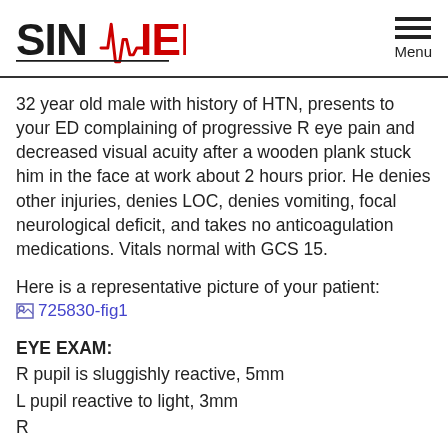SIN/\IEM  Menu
32 year old male with history of HTN, presents to your ED complaining of progressive R eye pain and decreased visual acuity after a wooden plank stuck him in the face at work about 2 hours prior. He denies other injuries, denies LOC, denies vomiting, focal neurological deficit, and takes no anticoagulation medications. Vitals normal with GCS 15.
Here is a representative picture of your patient:
[Figure (other): Broken image link placeholder: 725830-fig1]
EYE EXAM:
R pupil is sluggishly reactive, 5mm
L pupil reactive to light, 3mm